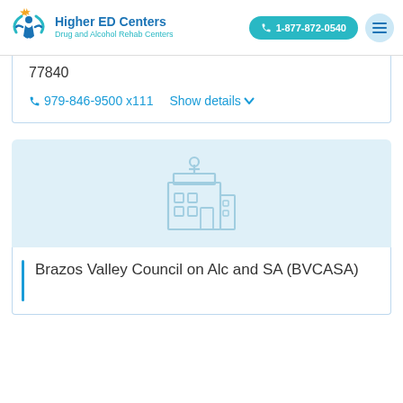Higher ED Centers | Drug and Alcohol Rehab Centers | 1-877-872-0540
77840
979-846-9500 x111   Show details
[Figure (illustration): Light blue building/hospital icon on light blue background representing a rehabilitation center]
Brazos Valley Council on Alc and SA (BVCASA)